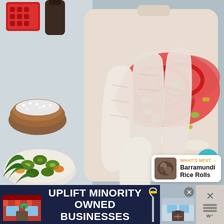[Figure (photo): Overhead view of a baking dish with raw white fish fillets, sliced red bell peppers, green olives, and onions. To the left are small bowls of coarse salt, green olives, and herbs. A red grater and dark bottle are in the upper left corner.]
3
[Figure (photo): Small thumbnail image of Barramundi Rice Rolls]
WHAT'S NEXT → Barramundi Rice Rolls
[Figure (infographic): Advertisement banner: dark navy background with store illustration on left, text 'UPLIFT MINORITY OWNED BUSINESSES' in white bold uppercase, street lamp icon, close button X on right, and store illustration with W logo on far right]